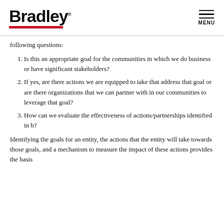Bradley MENU
following questions:
Is this an appropriate goal for the communities in which we do business or have significant stakeholders?
If yes, are there actions we are equipped to take that address that goal or are there organizations that we can partner with in our communities to leverage that goal?
How can we evaluate the effectiveness of actions/partnerships identified in b?
Identifying the goals for an entity, the actions that the entity will take towards those goals, and a mechanism to measure the impact of these actions provides the basis